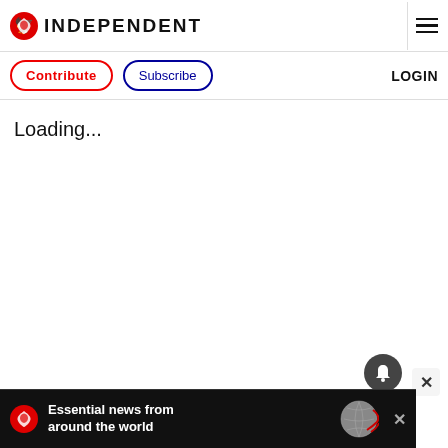INDEPENDENT
Contribute  Subscribe  LOGIN
Loading...
[Figure (logo): The Independent newspaper logo and navigation header with Contribute and Subscribe buttons and LOGIN link]
[Figure (infographic): Advertisement banner: Essential news from around the world, with The Independent logo and globe graphic on black background]